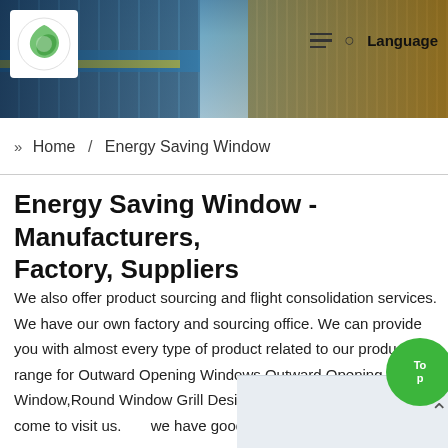[Figure (photo): Aerial view of solar panels and industrial rooftop with blue framing structures, yellow bars visible. Website header image.]
Home / Energy Saving Window — Logo and navigation (hamburger menu, search, Language)
» Home / Energy Saving Window
Energy Saving Window - Manufacturers, Factory, Suppliers
We also offer product sourcing and flight consolidation services. We have our own factory and sourcing office. We can provide you with almost every type of product related to our product range for Outward Opening Windows,Outward Opening Window,Round Window Grill Design.We sincerely welcome you come to visit us. we have good coo over the world